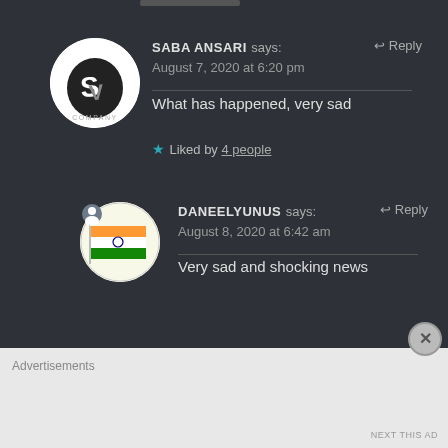SABA ANSARI says: August 7, 2020 at 6:20 pm
What has happened, very sad
Liked by 4 people
[Figure (logo): SV Company circular logo, white background with black stylized S and V letters]
DANEELYUNUS says: August 8, 2020 at 6:42 am
Very sad and shocking news
[Figure (illustration): Circular avatar with Indian flag and small profile icon badge]
Advertisements